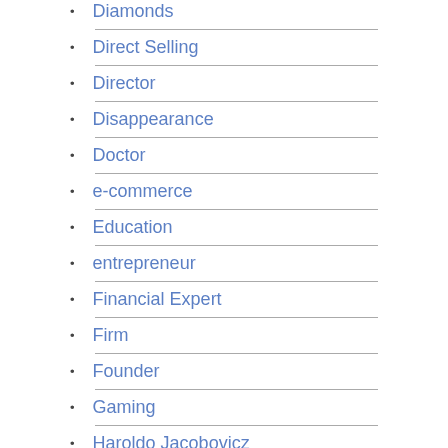Diamonds
Direct Selling
Director
Disappearance
Doctor
e-commerce
Education
entrepreneur
Financial Expert
Firm
Founder
Gaming
Haroldo Jacobovicz